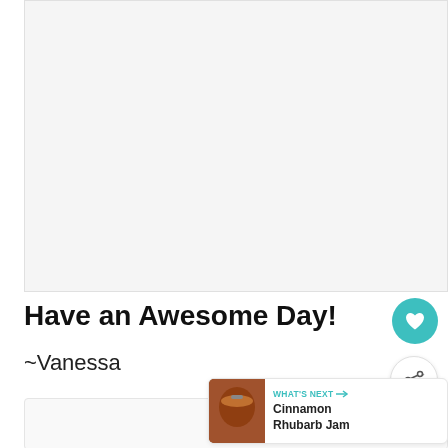[Figure (photo): Large image area at top, light gray placeholder]
Have an Awesome Day!
~Vanessa
[Figure (illustration): Circular teal button with heart icon (favorite/like button)]
[Figure (illustration): Circular white button with share icon]
[Figure (illustration): What's Next card showing Cinnamon Rhubarb Jam with thumbnail of jam jar]